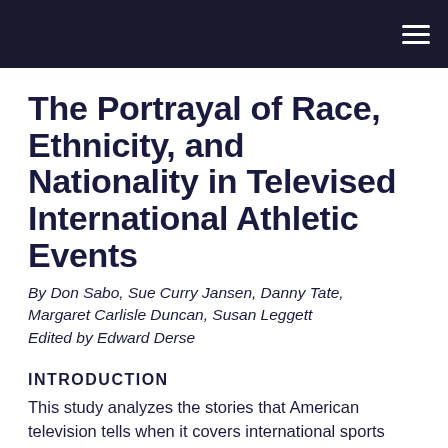The Portrayal of Race, Ethnicity, and Nationality in Televised International Athletic Events
By Don Sabo, Sue Curry Jansen, Danny Tate, Margaret Carlisle Duncan, Susan Leggett
Edited by Edward Derse
INTRODUCTION
This study analyzes the stories that American television tells when it covers international sports events. We sought to determine whether the narratives, metaphors, framing devices, and